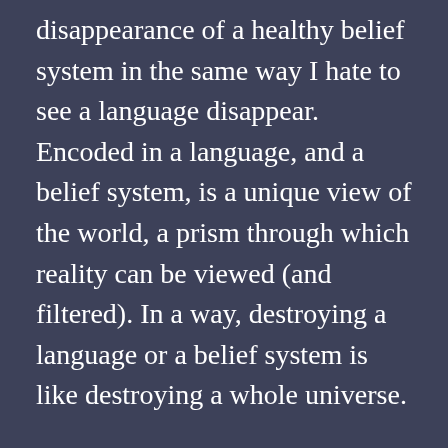disappearance of a healthy belief system in the same way I hate to see a language disappear. Encoded in a language, and a belief system, is a unique view of the world, a prism through which reality can be viewed (and filtered). In a way, destroying a language or a belief system is like destroying a whole universe.
This is why I think it’s valuable to be ‘fluent’ in several belief systems, and be able to view the same facts through several different prisms of belief. It doesn’t make sense to search for the One Perfect… [continues]